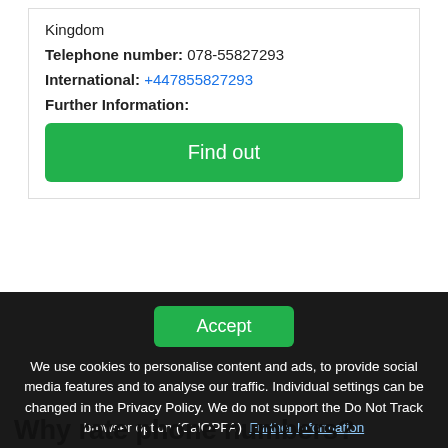Kingdom
Telephone number: 078-55827293
International: +447855827293
Further Information:
[Figure (other): Green button labeled 'Find out']
[Figure (other): Green 'Accept' button in cookie consent banner]
We use cookies to personalise content and ads, to provide social media features and to analyse our traffic. Individual settings can be changed in the Privacy Policy. We do not support the Do Not Track browser option (CalOPPA). Further Information
Why rate phone numbers?